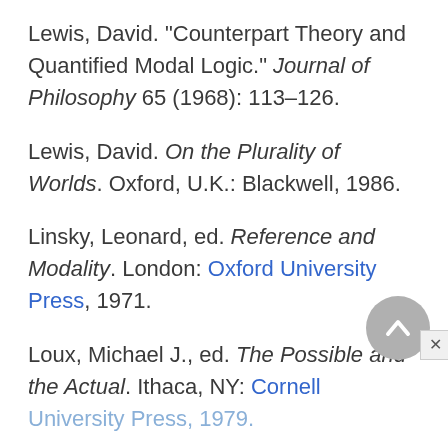Lewis, David. "Counterpart Theory and Quantified Modal Logic." Journal of Philosophy 65 (1968): 113–126.
Lewis, David. On the Plurality of Worlds. Oxford, U.K.: Blackwell, 1986.
Linsky, Leonard, ed. Reference and Modality. London: Oxford University Press, 1971.
Loux, Michael J., ed. The Possible and the Actual. Ithaca, NY: Cornell University Press, 1979.